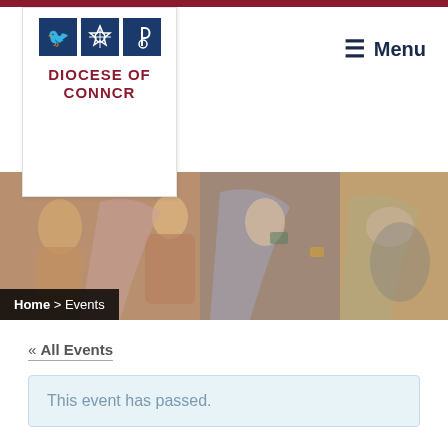[Figure (logo): Diocese of Connor logo with three blue square icons and red text]
≡ Menu
[Figure (illustration): Hero banner image showing a medieval fresco/painting with figures in robes, warm earth tones]
Home > Events
« All Events
This event has passed.
Day of Prayer for young people